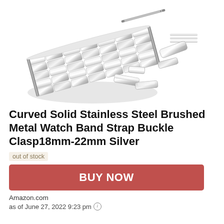[Figure (photo): Product photo of a curved solid stainless steel brushed metal watch band with extra links and spring bars disassembled on a white background]
Curved Solid Stainless Steel Brushed Metal Watch Band Strap Buckle Clasp18mm-22mm Silver
out of stock
BUY NOW
Amazon.com
as of June 27, 2022 9:23 pm ℹ